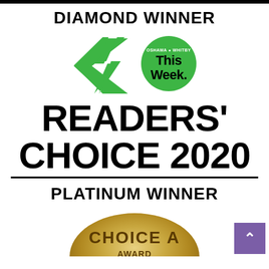DIAMOND WINNER
[Figure (logo): Oshawa Whitby This Week Readers' Choice 2020 logo with green star and green circle badge]
PLATINUM WINNER
[Figure (illustration): Gold Choice Award medallion partially visible at the bottom of the page]